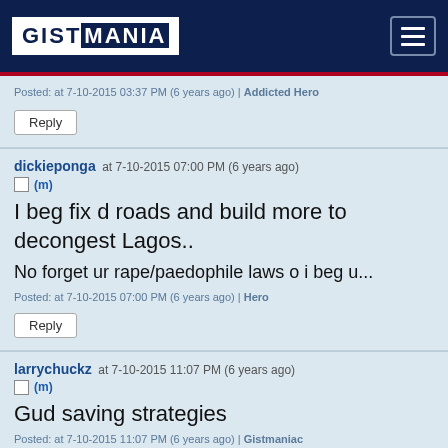GISTMANIA
Posted: at 7-10-2015 03:37 PM (6 years ago) | Addicted Hero
Reply
dickieponga at 7-10-2015 07:00 PM (6 years ago)
(m)
I beg fix d roads and build more to decongest Lagos..
No forget ur rape/paedophile laws o i beg u...
Posted: at 7-10-2015 07:00 PM (6 years ago) | Hero
Reply
larrychuckz at 7-10-2015 11:07 PM (6 years ago)
(m)
Gud saving strategies
Posted: at 7-10-2015 11:07 PM (6 years ago) | Gistmaniac
Reply